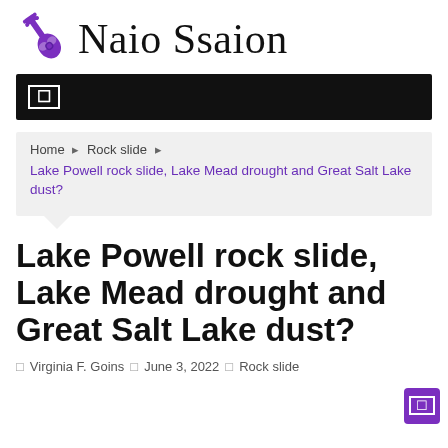Naio Ssaion
☰ (navigation menu bar)
Home › Rock slide › Lake Powell rock slide, Lake Mead drought and Great Salt Lake dust?
Lake Powell rock slide, Lake Mead drought and Great Salt Lake dust?
Virginia F. Goins   June 3, 2022   Rock slide